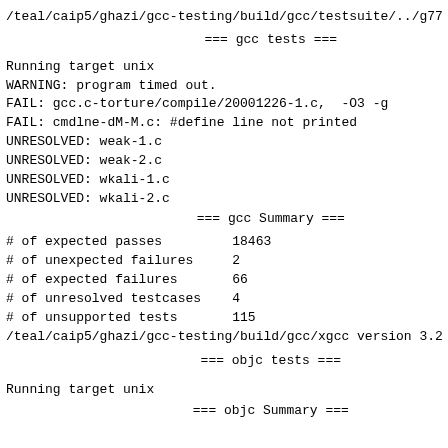/teal/caip5/ghazi/gcc-testing/build/gcc/testsuite/../g77
=== gcc tests ===
Running target unix
WARNING: program timed out.
FAIL: gcc.c-torture/compile/20001226-1.c,  -O3 -g
FAIL: cmdlne-dM-M.c: #define line not printed
UNRESOLVED: weak-1.c
UNRESOLVED: weak-2.c
UNRESOLVED: wkali-1.c
UNRESOLVED: wkali-2.c
=== gcc Summary ===
# of expected passes         18463
# of unexpected failures     2
# of expected failures       66
# of unresolved testcases    4
# of unsupported tests       115
/teal/caip5/ghazi/gcc-testing/build/gcc/xgcc version 3.2
=== objc tests ===
Running target unix
=== objc Summary ===